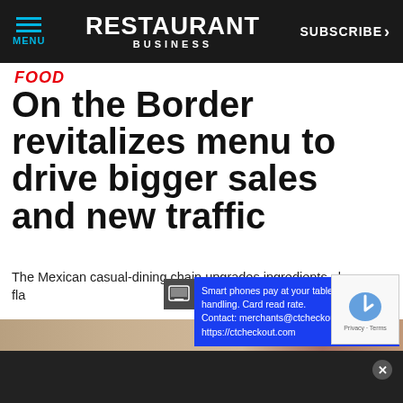MENU | RESTAURANT BUSINESS | SUBSCRIBE >
FOOD
On the Border revitalizes menu to drive bigger sales and new traffic
The Mexican casual-dining chain upgrades ingredients plays up flavor to stay ahead of the competition
[Figure (screenshot): Advertisement popup: Smart phones pay at your table. No card handling. Card read rate. Contact: merchants@ctcheckout.com https://ctcheckout.com]
[Figure (screenshot): reCAPTCHA widget with Privacy - Terms labels]
By using our site you agree to our Privacy Policy. We use cookies on our site. To learn more about the information we collect, how we use it and your choices, visit the cookies section of our Privacy Policy.